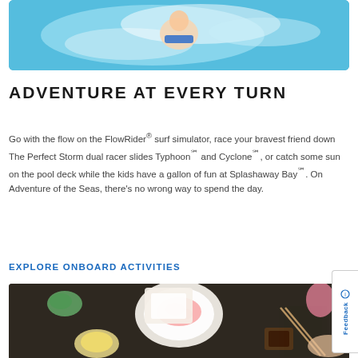[Figure (photo): Child surfing on a FlowRider wave simulator, splashing water, smiling, holding a blue board]
ADVENTURE AT EVERY TURN
Go with the flow on the FlowRider® surf simulator, race your bravest friend down The Perfect Storm dual racer slides Typhoon℠ and Cyclone℠, or catch some sun on the pool deck while the kids have a gallon of fun at Splashaway Bay℠. On Adventure of the Seas, there's no wrong way to spend the day.
EXPLORE ONBOARD ACTIVITIES
[Figure (photo): Aerial top-down view of a dining table with Japanese food — sushi, sashimi, bowls, chopsticks, soy sauce, drinks]